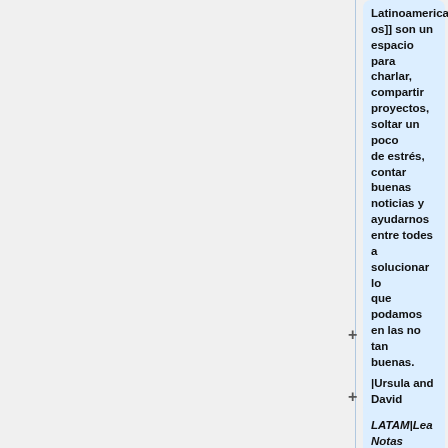Latinoamericanos]] son un espacio para charlar, compartir proyectos, soltar un poco de estrés, contar buenas noticias y ayudarnos entre todes a solucionar lo que podamos en las no tan buenas. '''[[20 de Julio, 2022 LATAM|Lea Notas Aqui]]'''
|Ursula and David